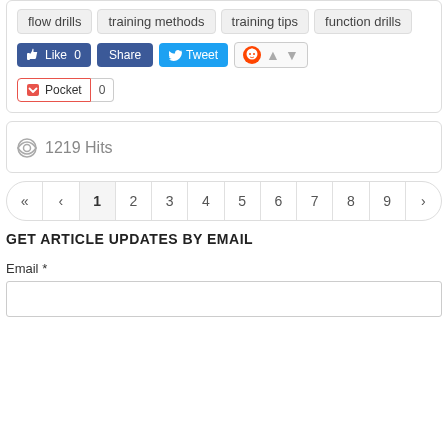flow drills
training methods
training tips
function drills
[Figure (screenshot): Social sharing buttons: Like 0 (Facebook), Share (Facebook), Tweet (Twitter), Reddit with up/down arrows]
[Figure (screenshot): Pocket save button with count 0]
1219 Hits
[Figure (screenshot): Pagination: << < 1 2 3 4 5 6 7 8 9 ...]
GET ARTICLE UPDATES BY EMAIL
Email *